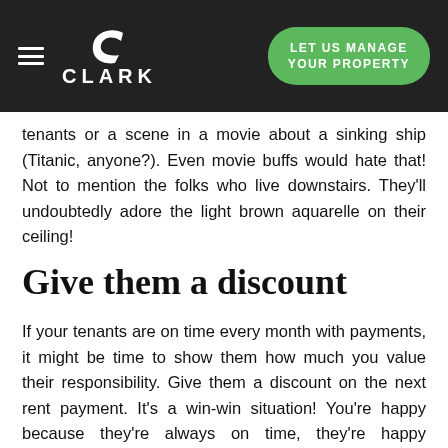CLARK | LET US MANAGE YOUR PROPERTY
tenants or a scene in a movie about a sinking ship (Titanic, anyone?). Even movie buffs would hate that! Not to mention the folks who live downstairs. They'll undoubtedly adore the light brown aquarelle on their ceiling!
Give them a discount
If your tenants are on time every month with payments, it might be time to show them how much you value their responsibility. Give them a discount on the next rent payment. It's a win-win situation! You're happy because they're always on time, they're happy because you gave them a monthly discount! Then you're happy because they're happy, and so on. It's not so hard to picture an